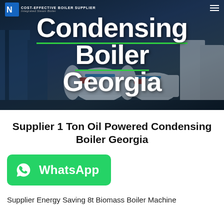[Figure (photo): Hero banner showing industrial condensing boilers with dark blue background. Navigation bar at top with logo 'COST-EFFECTIVE BOILER SUPPLIER' and tagline text. Large white bold text reads 'Condensing Boiler Georgia' overlaid on boiler machinery image.]
Supplier 1 Ton Oil Powered Condensing Boiler Georgia
[Figure (screenshot): Green WhatsApp button with phone icon and 'WhatsApp' label in white text]
Supplier Energy Saving 8t Biomass Boiler Machine